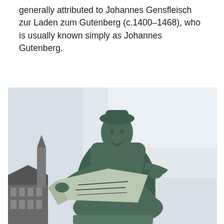generally attributed to Johannes Gensfleisch zur Laden zum Gutenberg (c.1400–1468), who is usually known simply as Johannes Gutenberg.
[Figure (photo): A bronze statue of Johannes Gutenberg seated, holding an open book/printed page, set against a pale sky background with a historic building visible in the lower left.]